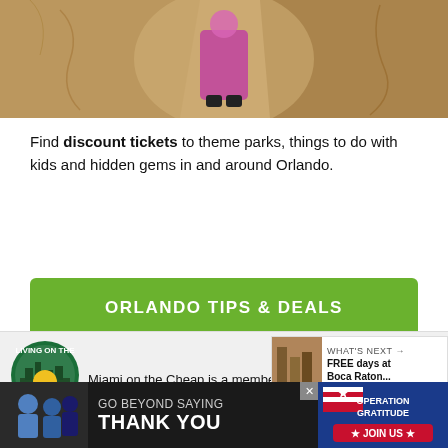[Figure (photo): Top photo showing a child in pink clothing walking through a sandy canyon or cave-like environment]
Find discount tickets to theme parks, things to do with kids and hidden gems in and around Orlando.
ORLANDO TIPS & DEALS
[Figure (logo): Living on the Cheap circular logo]
Miami on the Cheap is a member of Living on the Cheap, a network of websites published by frugalistas, journalists and consumer advocates.
[Figure (screenshot): What's Next callout box showing FREE days at Boca Raton...]
[Figure (photo): Operation Gratitude ad banner: GO BEYOND SAYING THANK YOU — JOIN US]